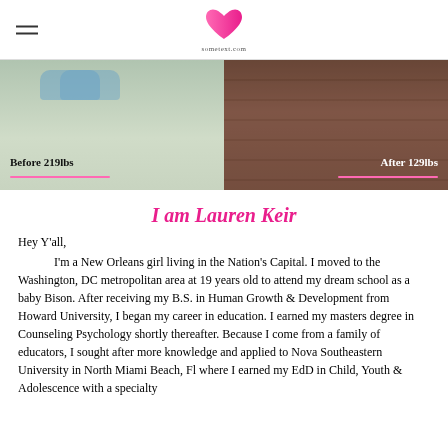[Figure (photo): Before and after weight loss photos side by side. Left photo shows feet/floor labeled 'Before 219lbs' with a pink underline. Right photo shows a darker tiled floor labeled 'After 129lbs' with a pink underline.]
I am Lauren Keir
Hey Y'all,

I'm a New Orleans girl living in the Nation's Capital. I moved to the Washington, DC metropolitan area at 19 years old to attend my dream school as a baby Bison. After receiving my B.S. in Human Growth & Development from Howard University, I began my career in education. I earned my masters degree in Counseling Psychology shortly thereafter. Because I come from a family of educators, I sought after more knowledge and applied to Nova Southeastern University in North Miami Beach, Fl where I earned my EdD in Child, Youth & Adolescence with a specialty